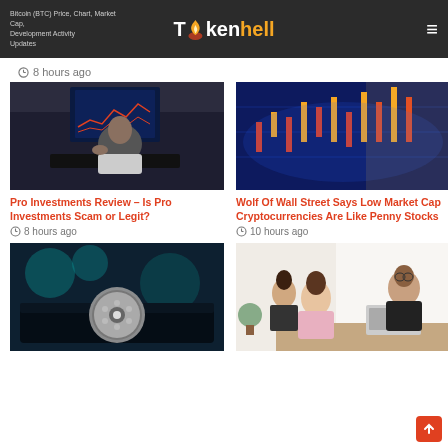Bitcoin (BTC) Price, Chart, Market Cap, Development Activity Updates – Tokenhell
8 hours ago
[Figure (photo): Person looking at financial charts on multiple monitors]
Pro Investments Review – Is Pro Investments Scam or Legit?
8 hours ago
[Figure (photo): Blue digital financial candlestick chart on screen]
Wolf Of Wall Street Says Low Market Cap Cryptocurrencies Are Like Penny Stocks
10 hours ago
[Figure (photo): Cardano coin on dark surface with teal background]
[Figure (photo): Financial advisor meeting with couple at desk with laptop]